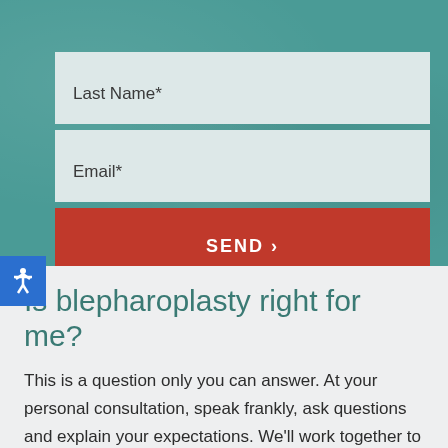CONTACT
Last Name*
Email*
SEND >
Is blepharoplasty right for me?
This is a question only you can answer. At your personal consultation, speak frankly, ask questions and explain your expectations. We'll work together to help you make the